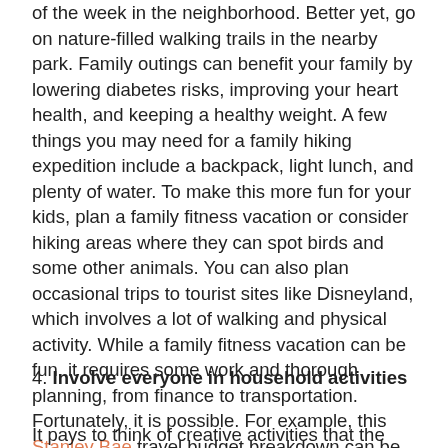of the week in the neighborhood. Better yet, go on nature-filled walking trails in the nearby park. Family outings can benefit your family by lowering diabetes risks, improving your heart health, and keeping a healthy weight. A few things you may need for a family hiking expedition include a backpack, light lunch, and plenty of water. To make this more fun for your kids, plan a family fitness vacation or consider hiking areas where they can spot birds and some other animals. You can also plan occasional trips to tourist sites like Disneyland, which involves a lot of walking and physical activity. While a family fitness vacation can be fun, it requires some work and thorough planning, from finance to transportation. Fortunately, it is possible. For example, this Stanley Bae travel budget breakdown can be helpful if you plan on visiting Disney with your family.
4. Involve everyone in household activities
It pays to think of creative activities that the whole of